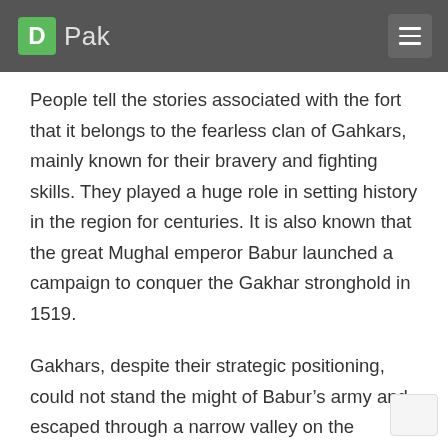D Pak
People tell the stories associated with the fort that it belongs to the fearless clan of Gahkars, mainly known for their bravery and fighting skills. They played a huge role in setting history in the region for centuries. It is also known that the great Mughal emperor Babur launched a campaign to conquer the Gakhar stronghold in 1519.
Gakhars, despite their strategic positioning, could not stand the might of Babur’s army and escaped through a narrow valley on the northern side of the fort. As it turned out, the Gakhars remained loyal to the Mughals and even